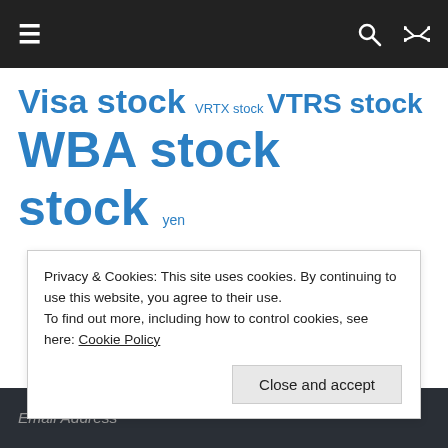≡  🔍 ⇌
Visa stock VRTX stock VTRS stock WBA stock yen
Privacy & Cookies: This site uses cookies. By continuing to use this website, you agree to their use.
To find out more, including how to control cookies, see here: Cookie Policy
Close and accept
Email Address